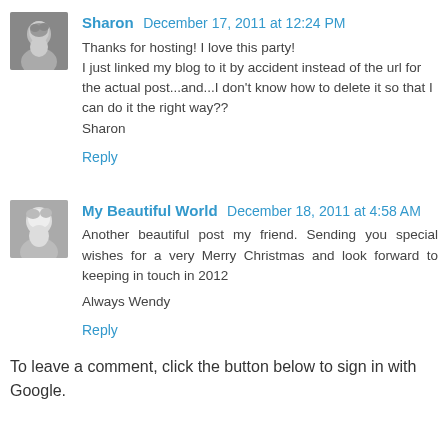Sharon — December 17, 2011 at 12:24 PM
Thanks for hosting! I love this party!
I just linked my blog to it by accident instead of the url for the actual post...and...I don't know how to delete it so that I can do it the right way??
Sharon
Reply
My Beautiful World — December 18, 2011 at 4:58 AM
Another beautiful post my friend. Sending you special wishes for a very Merry Christmas and look forward to keeping in touch in 2012

Always Wendy
Reply
To leave a comment, click the button below to sign in with Google.